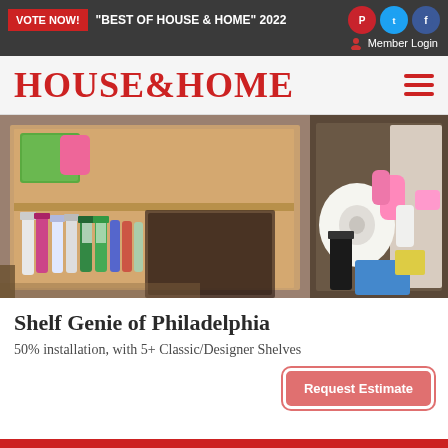VOTE NOW! "BEST OF HOUSE & HOME" 2022 | Member Login
HOUSE&HOME
[Figure (photo): Open kitchen cabinet with pull-out shelves containing cleaning supplies, spray bottles, paper towels, and household products organized in wooden drawer organizers]
Shelf Genie of Philadelphia
50% installation, with 5+ Classic/Designer Shelves
Request Estimate